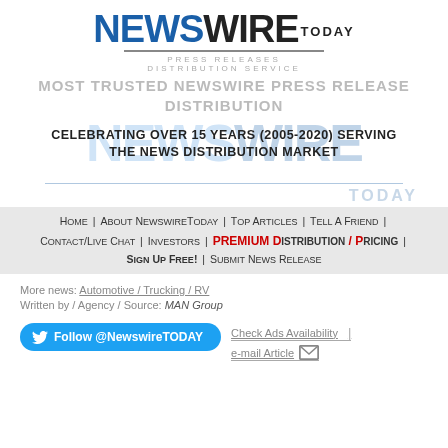[Figure (logo): NewswireToday logo with blue NEWS and black WIRE TODAY text, with horizontal rule beneath]
PRESS RELEASES DISTRIBUTION SERVICE
MOST TRUSTED NEWSWIRE PRESS RELEASE DISTRIBUTION
[Figure (logo): Faded NewswireToday watermark logo in background with celebrating text overlay: CELEBRATING OVER 15 YEARS (2005-2020) SERVING THE NEWS DISTRIBUTION MARKET]
Home | About NewswireToday | Top Articles | Tell A Friend | Contact/Live Chat | Investors | PREMIUM Distribution / Pricing | Sign Up Free! | Submit News Release
More news: Automotive / Trucking / RV
Written by / Agency / Source: MAN Group
Follow @NewswireTODAY | Check Ads Availability | e-mail Article